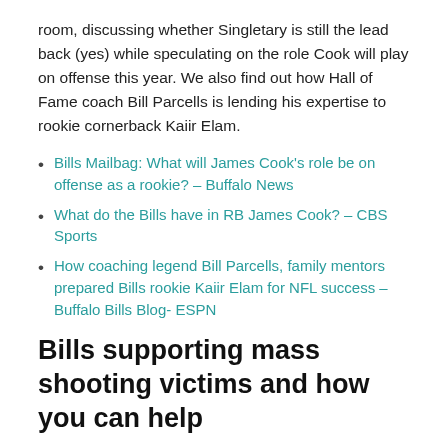room, discussing whether Singletary is still the lead back (yes) while speculating on the role Cook will play on offense this year. We also find out how Hall of Fame coach Bill Parcells is lending his expertise to rookie cornerback Kaiir Elam.
Bills Mailbag: What will James Cook's role be on offense as a rookie? – Buffalo News
What do the Bills have in RB James Cook? – CBS Sports
How coaching legend Bill Parcells, family mentors prepared Bills rookie Kaiir Elam for NFL success – Buffalo Bills Blog- ESPN
Bills supporting mass shooting victims and how you can help
In the aftermath of the deadly racist mass shooting at